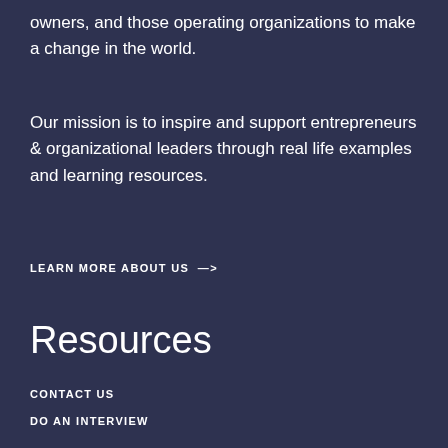owners, and those operating organizations to make a change in the world.
Our mission is to inspire and support entrepreneurs & organizational leaders through real life examples and learning resources.
LEARN MORE ABOUT US —>
Resources
CONTACT US
DO AN INTERVIEW